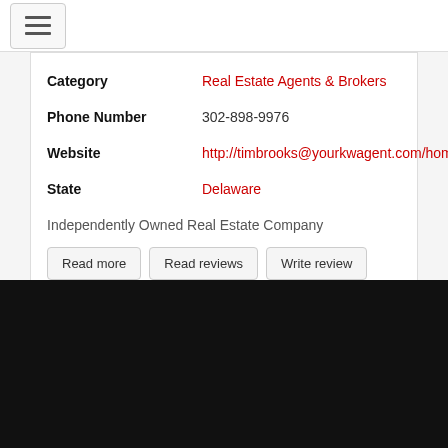[hamburger menu button]
| Category | Real Estate Agents & Brokers |
| Phone Number | 302-898-9976 |
| Website | http://timbrooks@yourkwagent.com/home |
| State | Delaware |
Independently Owned Real Estate Company
Read more
Read reviews
Write review
13 results - showing 1 - 10
1  2